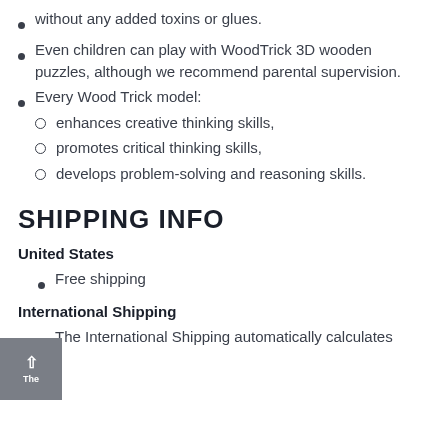without any added toxins or glues.
Even children can play with WoodTrick 3D wooden puzzles, although we recommend parental supervision.
Every Wood Trick model:
enhances creative thinking skills,
promotes critical thinking skills,
develops problem-solving and reasoning skills.
SHIPPING INFO
United States
Free shipping
International Shipping
The International Shipping automatically calculates